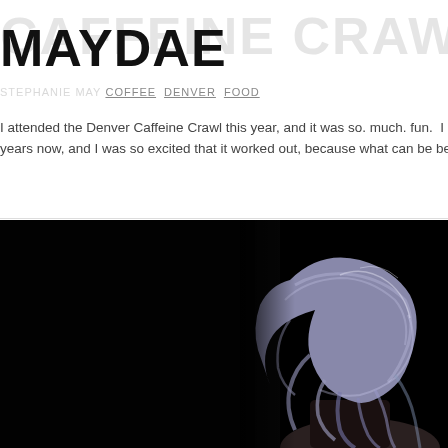MAYDAE
CAFFEINE CRAWL  DENVER  STEPHANIE MAY  COFFEE  DENVER  FOOD
I attended the Denver Caffeine Crawl this year, and it was so. much. fun.  I have wan years now, and I was so excited that it worked out, because what can be better than
[Figure (photo): Profile view of a person with wavy silver/purple hair against a dark black background, looking downward and slightly smiling.]